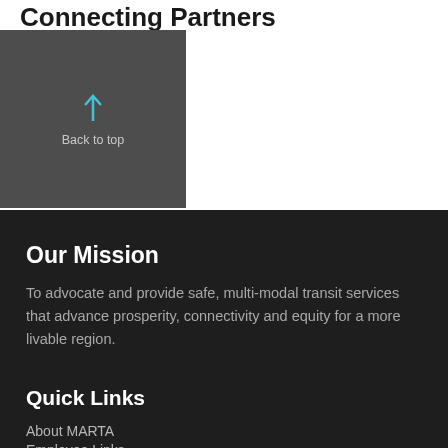Connecting Partners
[Figure (other): Back to top button with upward cyan arrow on dark gray background, labeled 'Back to top']
Our Mission
To advocate and provide safe, multi-modal transit services that advance prosperity, connectivity and equity for a more livable region.
Quick Links
About MARTA
Employee Links